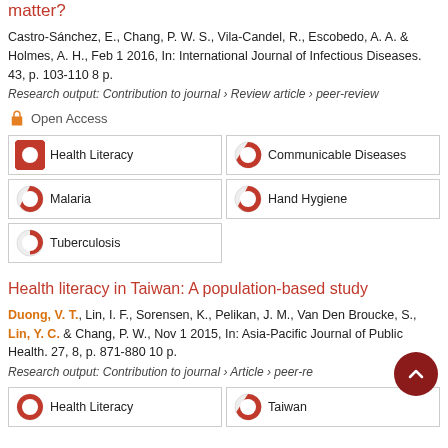matter?
Castro-Sánchez, E., Chang, P. W. S., Vila-Candel, R., Escobedo, A. A. & Holmes, A. H., Feb 1 2016, In: International Journal of Infectious Diseases. 43, p. 103-110 8 p.
Research output: Contribution to journal › Review article › peer-review
Open Access
Health Literacy
Communicable Diseases
Malaria
Hand Hygiene
Tuberculosis
Health literacy in Taiwan: A population-based study
Duong, V. T., Lin, I. F., Sorensen, K., Pelikan, J. M., Van Den Broucke, S., Lin, Y. C. & Chang, P. W., Nov 1 2015, In: Asia-Pacific Journal of Public Health. 27, 8, p. 871-880 10 p.
Research output: Contribution to journal › Article › peer-review
Health Literacy
Taiwan